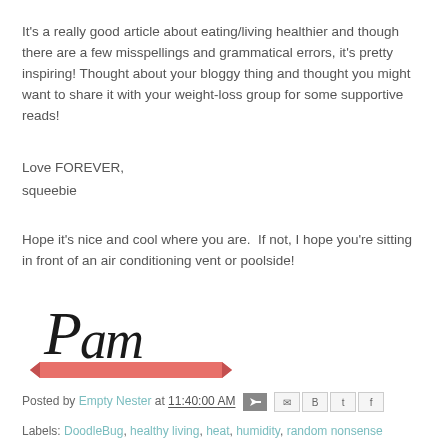It's a really good article about eating/living healthier and though there are a few misspellings and grammatical errors, it's pretty inspiring! Thought about your bloggy thing and thought you might want to share it with your weight-loss group for some supportive reads!
Love FOREVER,
squeebie
Hope it's nice and cool where you are.  If not, I hope you're sitting in front of an air conditioning vent or poolside!
[Figure (illustration): Handwritten cursive signature 'Pam' in black ink with a red ribbon/banner decoration beneath it]
Posted by Empty Nester at 11:40:00 AM
Labels: DoodleBug, healthy living, heat, humidity, random nonsense